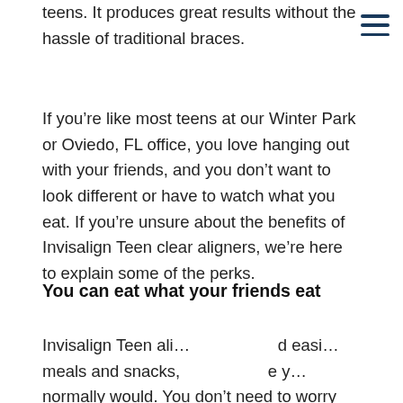teens. It produces great results without the hassle of traditional braces.
If you’re like most teens at our Winter Park or Oviedo, FL office, you love hanging out with your friends, and you don’t want to look different or have to watch what you eat. If you’re unsure about the benefits of Invisalign Teen clear aligners, we’re here to explain some of the perks.
You can eat what your friends eat
Invisalign Teen ali… d easi… meals and snacks, … e y… normally would. You don’t need to worry about food getting stuck in your braces or a bracket popping off…
[Figure (screenshot): Tooltip overlay reading 'Click to text or schedule an appt.' with a cyan circular calendar icon button on the right.]